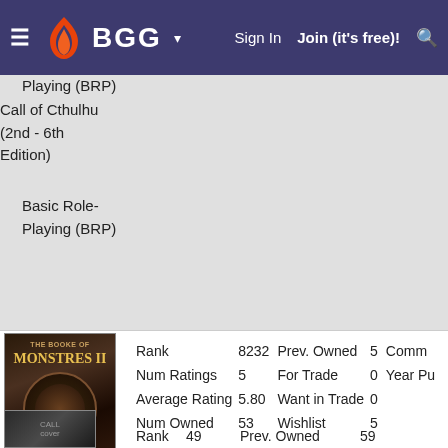BGG - Sign In | Join (it's free)!
Playing (BRP)
Call of Cthulhu (2nd - 6th Edition)
Basic Role-Playing (BRP)
[Figure (photo): Book cover of Ye Booke of Monstres II]
Rank 8232 | Num Ratings 5 | Average Rating 5.80 | Num Owned 53 | Prev. Owned 5 | For Trade 0 | Want in Trade 0 | Wishlist 5 | Comm... | Year Pu...
Ye Booke of Monstres II
Call of Cthulhu (1st Edition)
Basic Role-Playing (BRP)
Call of Cthulhu (2nd - 6th Edition)
Basic Role-Playing (BRP)
[Figure (photo): Partial book cover at bottom of page]